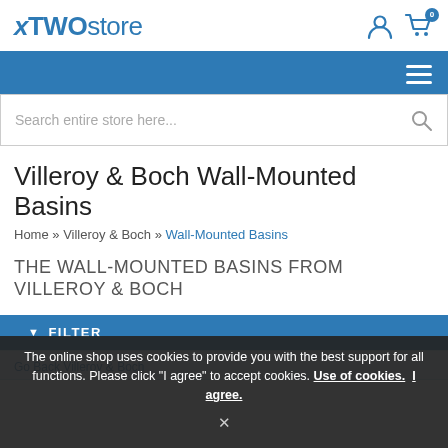xTWOstore
Search entire store here...
Villeroy & Boch Wall-Mounted Basins
Home » Villeroy & Boch » Wall-Mounted Basins
THE WALL-MOUNTED BASINS FROM VILLEROY & BOCH
▼ FILTER
The online shop uses cookies to provide you with the best support for all functions. Please click "I agree" to accept cookies. Use of cookies. I agree.